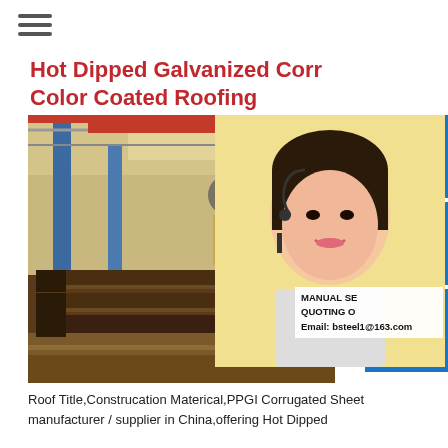☰
Hot Dipped Galvanized Corr Color Coated Roofing
[Figure (photo): Factory floor showing steel structural beams and H-beams stacked in a large industrial warehouse with blue pillars and overhead cranes]
[Figure (photo): Customer service representative (woman with headset) overlaid with blue icon buttons: headset/customer service icon, phone icon, and Skype icon]
MANUAL SE
QUOTING O
Email: bsteel1@163.com
Roof Title,Construcation Materical,PPGI Corrugated Sheet manufacturer / supplier in China,offering Hot Dipped